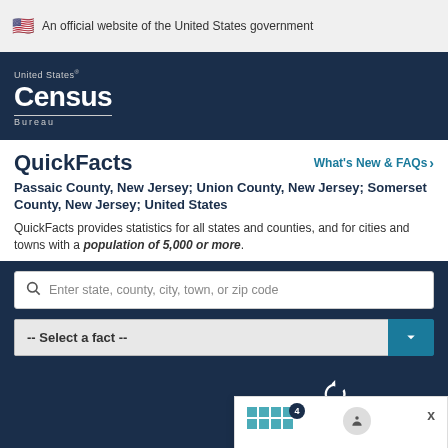An official website of the United States government
[Figure (logo): United States Census Bureau logo, white text on dark navy background]
QuickFacts
What's New & FAQs >
Passaic County, New Jersey; Union County, New Jersey; Somerset County, New Jersey; United States
QuickFacts provides statistics for all states and counties, and for cities and towns with a population of 5,000 or more.
Enter state, county, city, town, or zip code
-- Select a fact --
CLEAR
Is this page helpful? Yes No